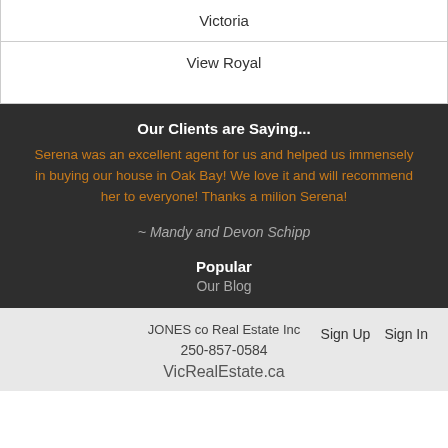| Victoria |
| View Royal |
Our Clients are Saying...
Serena was an excellent agent for us and helped us immensely in buying our house in Oak Bay! We love it and will recommend her to everyone! Thanks a milion Serena!
~ Mandy and Devon Schipp
Popular
Our Blog
JONES co Real Estate Inc
250-857-0584
VicRealEstate.ca
Sign Up   Sign In